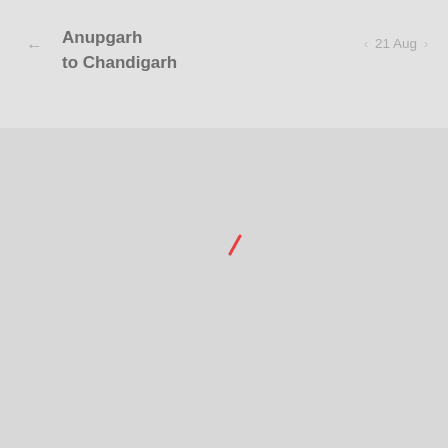Anupgarh to Chandigarh  ← | 21 Aug ›
Home > Bus Tickets > Anupgarh Bus >
Anupgarh to Chandigarh Bus
[Figure (other): Red loading spinner indicator in the center of a gray page]